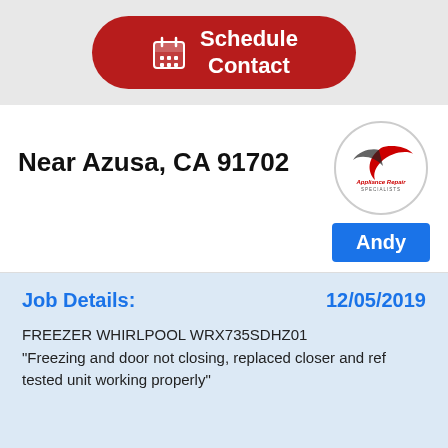[Figure (other): Red pill-shaped button with calendar icon and text 'Schedule Contact' on grey background]
Near Azusa, CA 91702
[Figure (logo): Appliance Repair Specialists logo in a circle — swoosh graphic in red/black, text 'Appliance Repair SPECIALISTS']
Andy
Job Details:
12/05/2019
FREEZER WHIRLPOOL WRX735SDHZ01 "Freezing and door not closing, replaced closer and ref tested unit working properly"